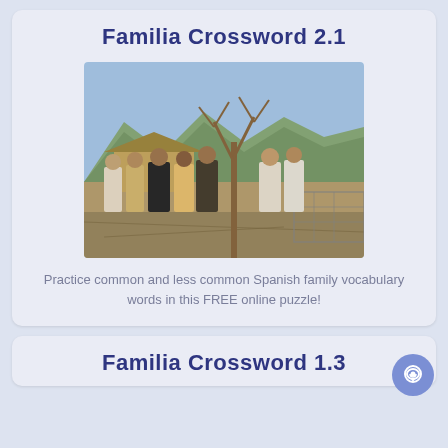Familia Crossword 2.1
[Figure (photo): Group of people standing outdoors near a bare tree and wire fence, with mountains in the background.]
Practice common and less common Spanish family vocabulary words in this FREE online puzzle!
Familia Crossword 1.3